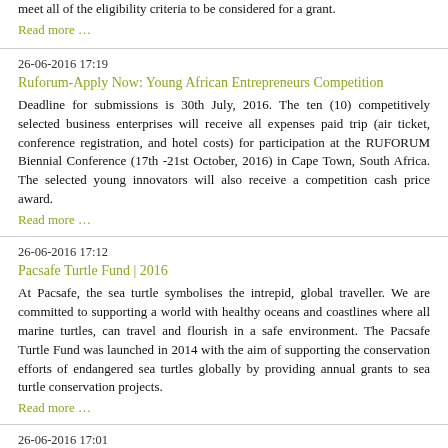meet all of the eligibility criteria to be considered for a grant.
Read more …
26-06-2016 17:19
Ruforum-Apply Now: Young African Entrepreneurs Competition
Deadline for submissions is 30th July, 2016. The ten (10) competitively selected business enterprises will receive all expenses paid trip (air ticket, conference registration, and hotel costs) for participation at the RUFORUM Biennial Conference (17th -21st October, 2016) in Cape Town, South Africa. The selected young innovators will also receive a competition cash price award.
Read more …
26-06-2016 17:12
Pacsafe Turtle Fund | 2016
At Pacsafe, the sea turtle symbolises the intrepid, global traveller. We are committed to supporting a world with healthy oceans and coastlines where all marine turtles, can travel and flourish in a safe environment. The Pacsafe Turtle Fund was launched in 2014 with the aim of supporting the conservation efforts of endangered sea turtles globally by providing annual grants to sea turtle conservation projects.
Read more …
26-06-2016 17:01
New MacArthur Competition to Award $100 Million to Help Solve a Critical Problem of Our Time.
A new competition launched today will award a $100 million grant to a single proposal designed to help solve a critical problem affecting people, places, or the planet. The Foundation's competition, called 100&Change, is open to organizations working in any field of endeavor anywhere. Applicants must identify both the problem they are trying to solve, as well as their proposed